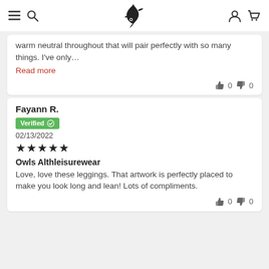Navigation header with hamburger menu, search, logo, user and cart icons
warm neutral throughout that will pair perfectly with so many things. I've only…
Read more
👍 0  👎 0
Fayann R.
Verified ✓
02/13/2022
★★★★★
Owls Althleisurewear
Love, love these leggings. That artwork is perfectly placed to make you look long and lean! Lots of compliments.
👍 0  👎 0